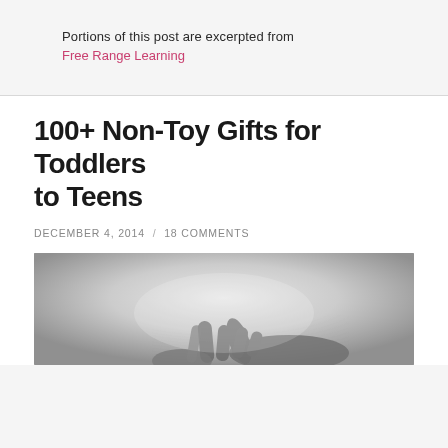Portions of this post are excerpted from
Free Range Learning
100+ Non-Toy Gifts for Toddlers to Teens
DECEMBER 4, 2014  /  18 COMMENTS
[Figure (photo): Black and white photo of an adult hand and a child's finger touching, on a light gradient background]